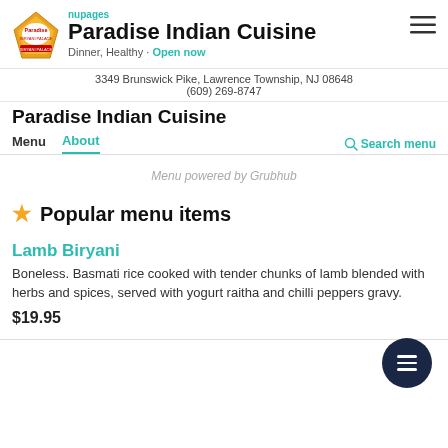Paradise Indian Cuisine
Dinner, Healthy · Open now
3349 Brunswick Pike, Lawrence Township, NJ 08648
(609) 269-8747
Paradise Indian Cuisine
Menu  About  Search menu
Menu powered by Grubhub
★ Popular menu items
Lamb Biryani
Boneless. Basmati rice cooked with tender chunks of lamb blended with herbs and spices, served with yogurt raitha and chilli peppers gravy.
$19.95